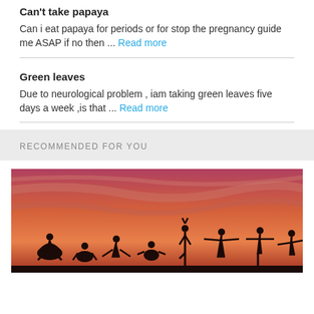Can't take papaya
Can i eat papaya for periods or for stop the pregnancy guide me ASAP if no then ... Read more
Green leaves
Due to neurological problem , iam taking green leaves five days a week ,is that ... Read more
RECOMMENDED FOR YOU
[Figure (photo): Silhouettes of people doing yoga poses against a vivid orange and pink sunset sky]